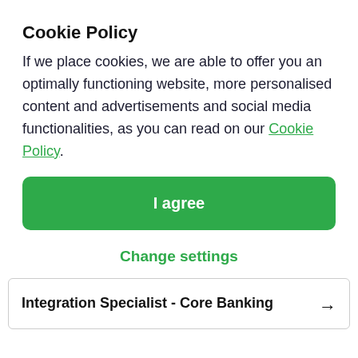Cookie Policy
If we place cookies, we are able to offer you an optimally functioning website, more personalised content and advertisements and social media functionalities, as you can read on our Cookie Policy.
I agree
Change settings
Integration Specialist - Core Banking →